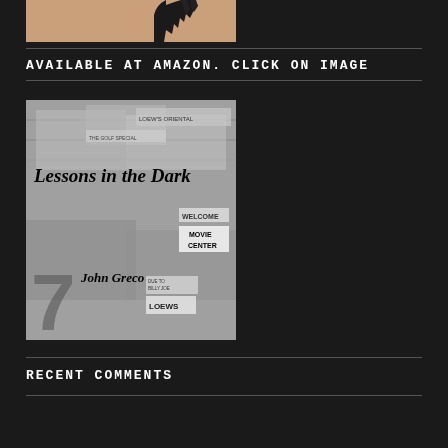[Figure (photo): Partial view of a book cover or image with a hand/glove visible against a skin-toned background, cropped at top of page]
AVAILABLE AT AMAZON. CLICK ON IMAGE
[Figure (illustration): Book cover for 'Lessons in the Dark' by John Greco. Features a collage of old movie theater marquees and city street scenes in grayscale. Title in bold italic serif font, author name below.]
RECENT COMMENTS